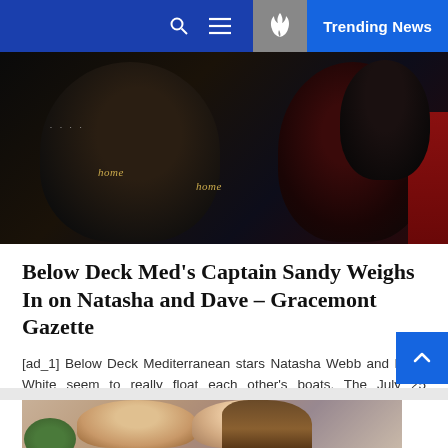Trending News
[Figure (photo): Two people wearing dark uniforms with 'home' text on them, and a person in a red dress partially visible on the right side.]
Below Deck Med's Captain Sandy Weighs In on Natasha and Dave – Gracemont Gazette
[ad_1] Below Deck Mediterranean stars Natasha Webb and Dave White seem to really float each other's boats. The July 25 episode…
Admin — July 26, 2022
[Figure (photo): Partial view of two smiling people (a man and a woman) with a shrub/plant in the background.]